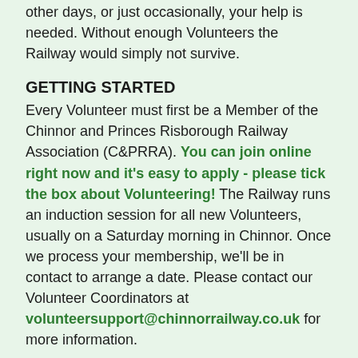other days, or just occasionally, your help is needed. Without enough Volunteers the Railway would simply not survive.
GETTING STARTED
Every Volunteer must first be a Member of the Chinnor and Princes Risborough Railway Association (C&PRRA). You can join online right now and it's easy to apply - please tick the box about Volunteering! The Railway runs an induction session for all new Volunteers, usually on a Saturday morning in Chinnor. Once we process your membership, we'll be in contact to arrange a date. Please contact our Volunteer Coordinators at volunteersupport@chinnorrailway.co.uk for more information.
SAFETY
If you want to have a role which involves walking along